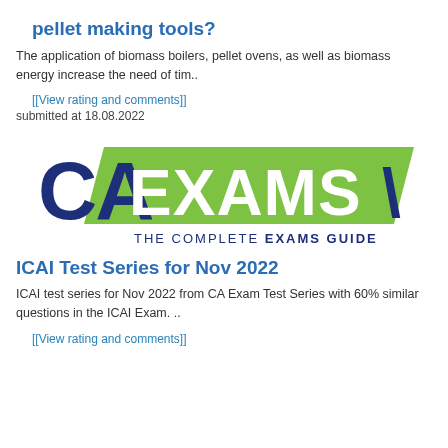pellet making tools?
The application of biomass boilers, pellet ovens, as well as biomass energy increase the need of tim..
[[View rating and comments]]
submitted at 18.08.2022
[Figure (logo): CA Exams logo with dark blue CA letters and green parallelogram background with white EXAMS text, subtitle: THE COMPLETE EXAMS GUIDE]
ICAI Test Series for Nov 2022
ICAI test series for Nov 2022 from CA Exam Test Series with 60% similar questions in the ICAI Exam. ..
[[View rating and comments]]